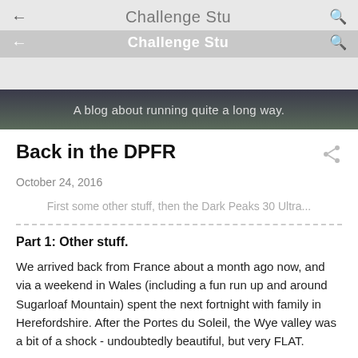Challenge Stu
Challenge Stu
[Figure (screenshot): Hero banner image showing a dark outdoor landscape with text overlay]
A blog about running quite a long way.
Back in the DPFR
October 24, 2016
First some other stuff, then the Dark Peaks 30 Ultra...
Part 1: Other stuff.
We arrived back from France about a month ago now, and via a weekend in Wales (including a fun run up and around Sugarloaf Mountain) spent the next fortnight with family in Herefordshire. After the Portes du Soleil, the Wye valley was a bit of a shock - undoubtedly beautiful, but very FLAT.